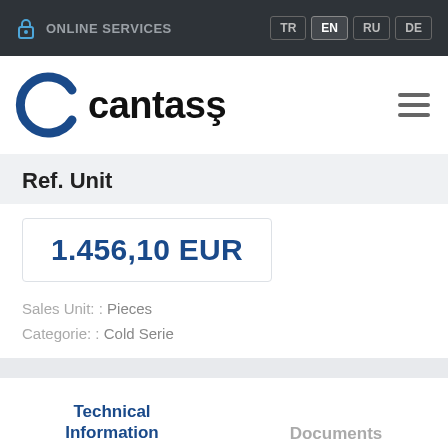ONLINE SERVICES | TR EN RU DE
[Figure (logo): Cantaş company logo — blue C arc with 'cantaş' wordmark in black, and hamburger menu icon]
Ref. Unit
1.456,10 EUR
Sales Unit: : Pieces
Categorie: : Cold Serie
Technical Information
Documents